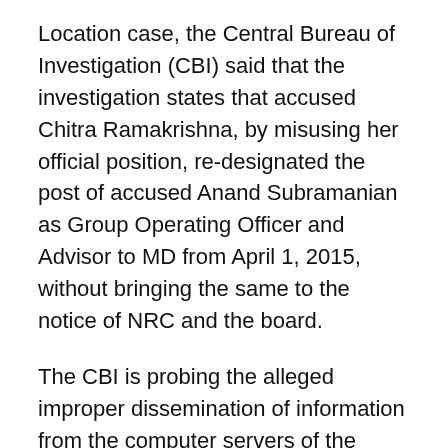Location case, the Central Bureau of Investigation (CBI) said that the investigation states that accused Chitra Ramakrishna, by misusing her official position, re-designated the post of accused Anand Subramanian as Group Operating Officer and Advisor to MD from April 1, 2015, without bringing the same to the notice of NRC and the board.
The CBI is probing the alleged improper dissemination of information from the computer servers of the market exchanges to the stockbrokers.